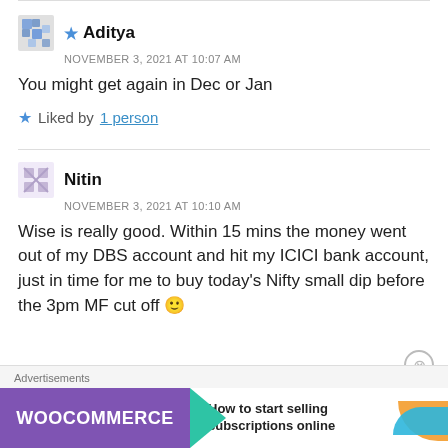★ Aditya
NOVEMBER 3, 2021 AT 10:07 AM
You might get again in Dec or Jan
Liked by 1 person
Nitin
NOVEMBER 3, 2021 AT 10:10 AM
Wise is really good. Within 15 mins the money went out of my DBS account and hit my ICICI bank account, just in time for me to buy today's Nifty small dip before the 3pm MF cut off 🙂
[Figure (screenshot): WooCommerce advertisement banner: How to start selling subscriptions online]